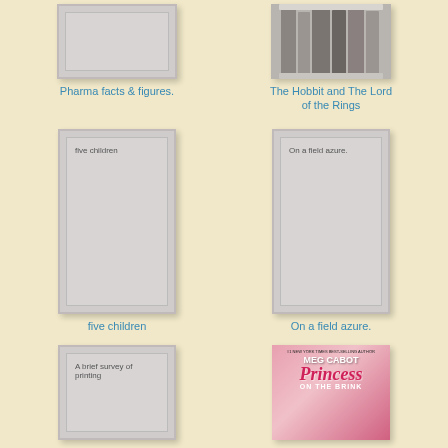[Figure (illustration): Book cover placeholder for Pharma facts & figures - gray rectangular cover with white inner border]
Pharma facts & figures.
[Figure (photo): Book set photo showing The Hobbit and The Lord of the Rings box set with books spine-out]
The Hobbit and The Lord of the Rings
[Figure (illustration): Book cover placeholder for five children - tall gray portrait cover with inner border, text 'five children' at top]
five children
[Figure (illustration): Book cover placeholder for On a field azure - tall gray portrait cover with inner border, text 'On a field azure.' at top]
On a field azure.
[Figure (illustration): Book cover placeholder for A brief survey of printing - gray cover with inner border, text 'A brief survey of printing']
A brief survey of printing
[Figure (photo): Book cover for Princess on the Brink by Meg Cabot - pink cover with author name and stylized princess title text]